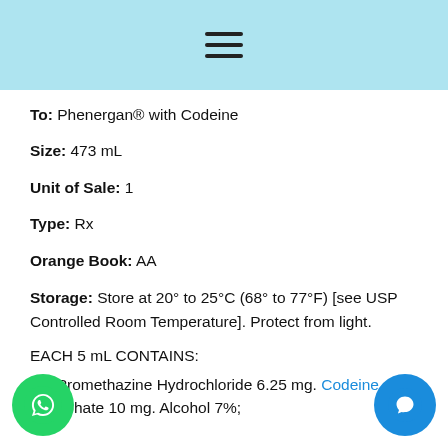≡ (hamburger menu icon)
To: Phenergan® with Codeine
Size: 473 mL
Unit of Sale: 1
Type: Rx
Orange Book: AA
Storage: Store at 20° to 25°C (68° to 77°F) [see USP Controlled Room Temperature]. Protect from light.
EACH 5 mL CONTAINS:
Active: Promethazine Hydrochloride 6.25 mg, Codeine Phosphate 10 mg, Alcohol 7%;